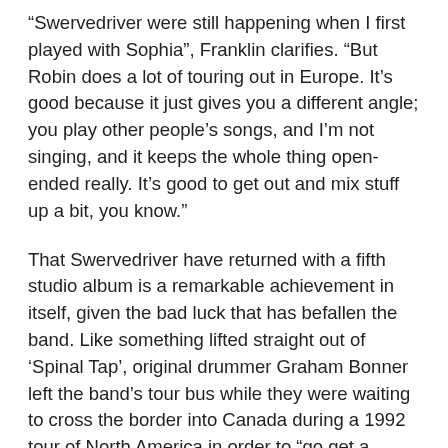“Swervedriver were still happening when I first played with Sophia”, Franklin clarifies. “But Robin does a lot of touring out in Europe. It’s good because it just gives you a different angle; you play other people’s songs, and I’m not singing, and it keeps the whole thing open-ended really. It’s good to get out and mix stuff up a bit, you know.”
That Swervedriver have returned with a fifth studio album is a remarkable achievement in itself, given the bad luck that has befallen the band. Like something lifted straight out of ‘Spinal Tap’, original drummer Graham Bonner left the band’s tour bus while they were waiting to cross the border into Canada during a 1992 tour of North America in order to “go get a sandwich”; he never came back (though he has sporadically returned to the fold in the last few years when the band have toured). That same year, they would lose both their manager and bassist Adi Vines too, the latter of whom elected to join the little-